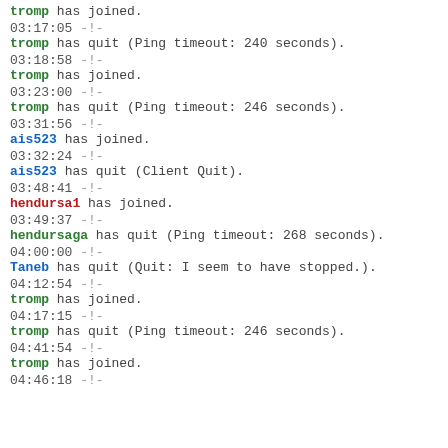tromp has joined.
03:17:05 -!-
tromp has quit (Ping timeout: 240 seconds).
03:18:58 -!-
tromp has joined.
03:23:00 -!-
tromp has quit (Ping timeout: 246 seconds).
03:31:56 -!-
ais523 has joined.
03:32:24 -!-
ais523 has quit (Client Quit).
03:48:41 -!-
hendursa1 has joined.
03:49:37 -!-
hendursaga has quit (Ping timeout: 268 seconds).
04:00:00 -!-
Taneb has quit (Quit: I seem to have stopped.).
04:12:54 -!-
tromp has joined.
04:17:15 -!-
tromp has quit (Ping timeout: 246 seconds).
04:41:54 -!-
tromp has joined.
04:46:18 -!-